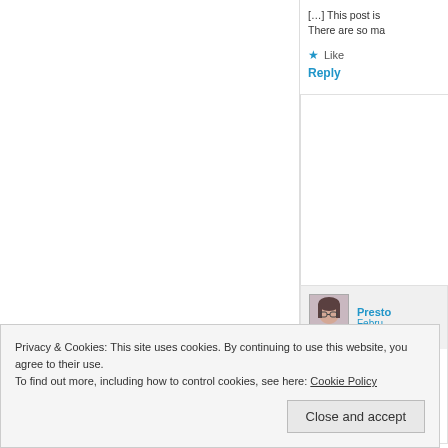[…] This post is There are so ma
Like
Reply
[Figure (photo): Avatar/profile photo of commenter, a woman with glasses]
Presto
Febru
[…] post is part Paula of Paula's
Like
Reply
Privacy & Cookies: This site uses cookies. By continuing to use this website, you agree to their use.
To find out more, including how to control cookies, see here: Cookie Policy
Close and accept